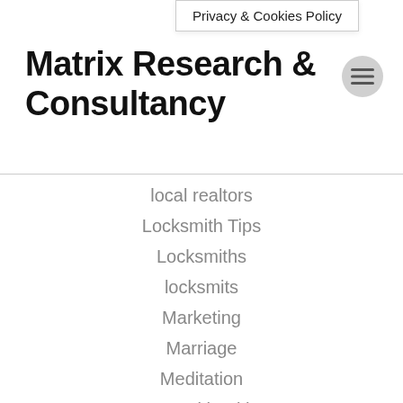Privacy & Cookies Policy
Matrix Research & Consultancy
local realtors
Locksmith Tips
Locksmiths
locksmits
Marketing
Marriage
Meditation
mental health
mental illness
military relocation
Mold
Mold Remediation